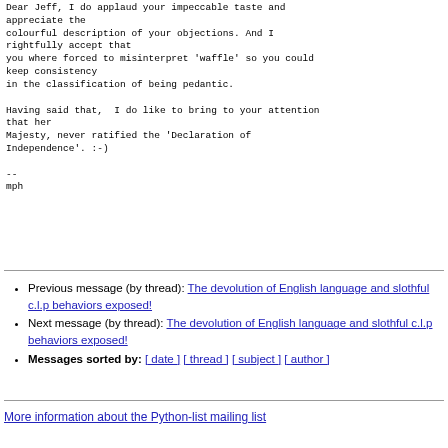Dear Jeff, I do applaud your impeccable taste and appreciate the
colourful description of your objections. And I rightfully accept that
you where forced to misinterpret 'waffle' so you could keep consistency
in the classification of being pedantic.

Having said that,  I do like to bring to your attention that her
Majesty, never ratified the 'Declaration of
Independence'. :-)

--
mph
Previous message (by thread): The devolution of English language and slothful c.l.p behaviors exposed!
Next message (by thread): The devolution of English language and slothful c.l.p behaviors exposed!
Messages sorted by: [ date ] [ thread ] [ subject ] [ author ]
More information about the Python-list mailing list